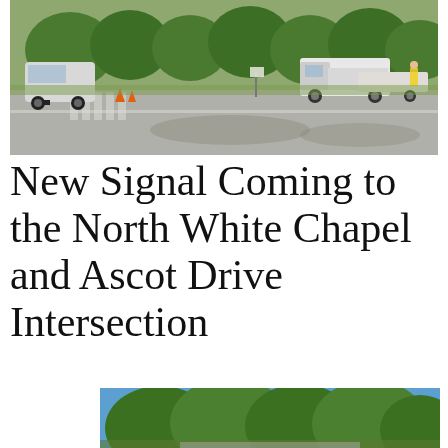[Figure (photo): Road intersection with construction vehicles and trucks visible. A white utility truck with trailer is parked on the right side of the road, workers visible. Green trees line the background. Appears to be daytime construction work at an intersection.]
New Signal Coming to the North White Chapel and Ascot Drive Intersection
[Figure (photo): Trees with green foliage against a blue sky, partial view of the area near the intersection.]